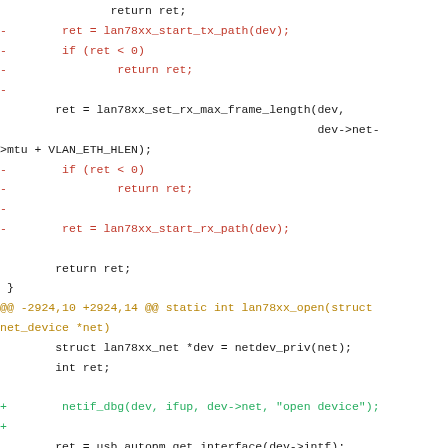Code diff snippet showing changes to lan78xx driver including lan78xx_start_tx_path, lan78xx_set_rx_max_frame_length, lan78xx_start_rx_path removals and netif_dbg, mutex_lock additions in lan78xx_open function